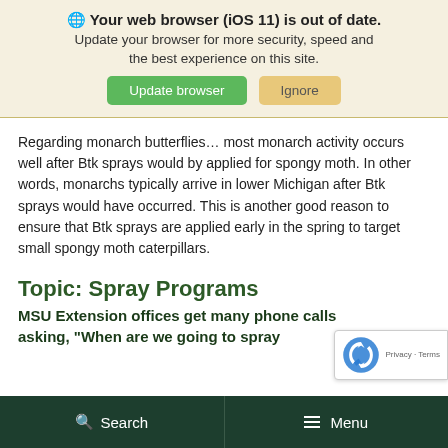🌐 Your web browser (iOS 11) is out of date. Update your browser for more security, speed and the best experience on this site. Update browser | Ignore
Regarding monarch butterflies… most monarch activity occurs well after Btk sprays would by applied for spongy moth. In other words, monarchs typically arrive in lower Michigan after Btk sprays would have occurred. This is another good reason to ensure that Btk sprays are applied early in the spring to target small spongy moth caterpillars.
Topic: Spray Programs
MSU Extension offices get many phone calls asking, "When are we going to spray
Search   Menu